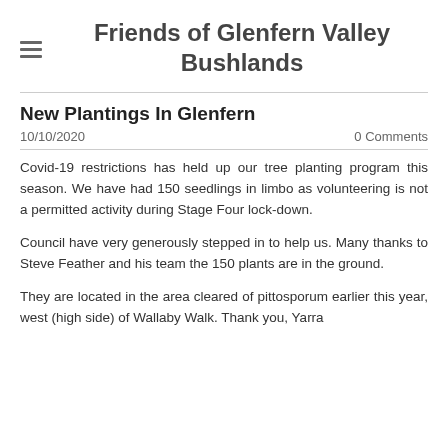Friends of Glenfern Valley Bushlands
New Plantings In Glenfern
10/10/2020
0 Comments
Covid-19 restrictions has held up our tree planting program this season. We have had 150 seedlings in limbo as volunteering is not a permitted activity during Stage Four lock-down.
Council have very generously stepped in to help us. Many thanks to Steve Feather and his team the 150 plants are in the ground.
They are located in the area cleared of pittosporum earlier this year, west (high side) of Wallaby Walk. Thank you, Yarra